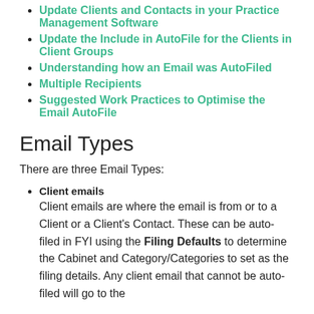Update Clients and Contacts in your Practice Management Software
Update the Include in AutoFile for the Clients in Client Groups
Understanding how an Email was AutoFiled
Multiple Recipients
Suggested Work Practices to Optimise the Email AutoFile
Email Types
There are three Email Types:
Client emails
Client emails are where the email is from or to a Client or a Client's Contact. These can be auto-filed in FYI using the Filing Defaults to determine the Cabinet and Category/Categories to set as the filing details. Any client email that cannot be auto-filed will go to the